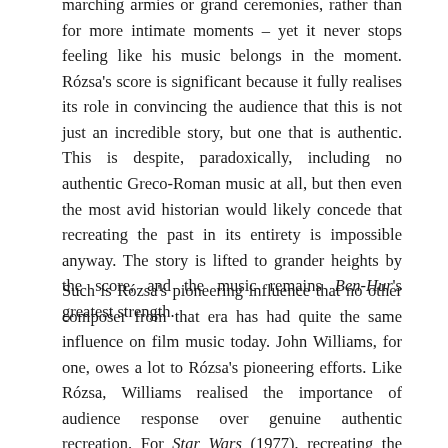marching armies or grand ceremonies, rather than for more intimate moments – yet it never stops feeling like his music belongs in the moment. Rózsa's score is significant because it fully realises its role in convincing the audience that this is not just an incredible story, but one that is authentic. This is despite, paradoxically, including no authentic Greco-Roman music at all, but then even the most avid historian would likely concede that recreating the past in its entirety is impossible anyway. The story is lifted to grander heights by the score, and the music remains Ben-Hur's greatest strength.
Such is Rózsa's pioneering influence that no other composer from that era has had quite the same influence on film music today. John Williams, for one, owes a lot to Rózsa's pioneering efforts. Like Rózsa, Williams realised the importance of audience response over genuine authentic recreation. For Star Wars (1977), recreating the sound of deep space is even less plausible than reconstructing the music and soundscape of Roman times. So, like Rózsa, Williams